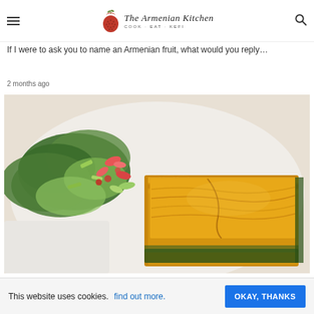The Armenian Kitchen — COOK · EAT · KEFI
If I were to ask you to name an  Armenian fruit,  what would you reply…
2 months ago
[Figure (photo): A white plate with a square piece of golden-brown phyllo pastry (spanakopita-style börek) on the right and a fresh green salad with radishes and vegetables on the left, photographed from above on a light surface.]
This website uses cookies. find out more.   OKAY, THANKS